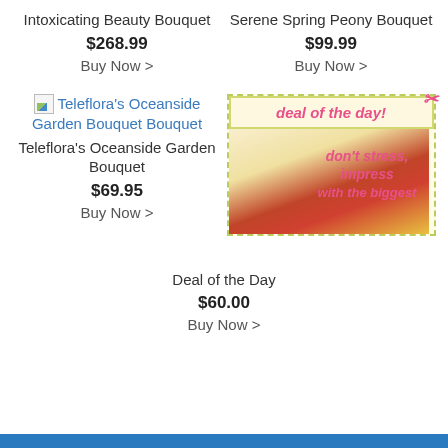Intoxicating Beauty Bouquet
$268.99
Buy Now >
Serene Spring Peony Bouquet
$99.99
Buy Now >
[Figure (photo): Broken image placeholder for Teleflora's Oceanside Garden Bouquet]
Teleflora's Oceanside Garden Bouquet Bouquet
Teleflora's Oceanside Garden Bouquet
$69.95
Buy Now >
[Figure (other): Deal of the Day promotional banner with scissors, dashed border, text: deal of the day!, don't stress, impress with the biggest]
Deal of the Day
$60.00
Buy Now >